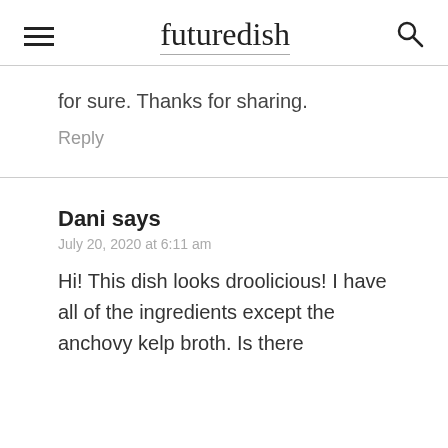futuredish
for sure. Thanks for sharing.
Reply
Dani says
July 20, 2020 at 6:11 am
Hi! This dish looks droolicious! I have all of the ingredients except the anchovy kelp broth. Is there